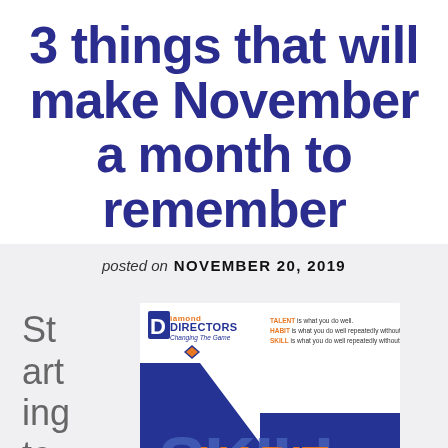3 things that will make November a month to remember
posted on  NOVEMBER 20, 2019
Starting to
[Figure (illustration): Diamond Directors book/poster showing SKILL HABIT TALENT branding with blue and orange design. Logo reads 'Diamond Directors - Changing The Game'. Text: TALENT is what you do well. HABIT is what you do well repeatedly without thought. SKILL is what you do well repeatedly without thought under stress. Large text shows SKILL with HABIT overlaid and TALENT below.]